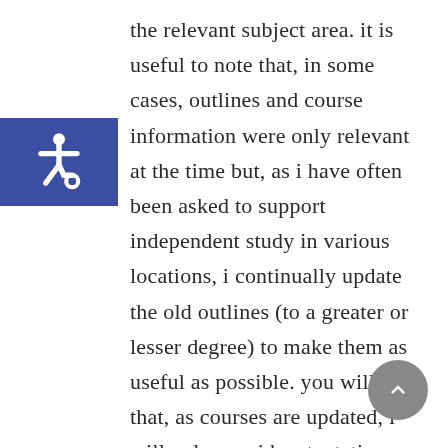the relevant subject area. it is useful to note that, in some cases, outlines and course information were only relevant at the time but, as i have often been asked to support independent study in various locations, i continually update the old outlines (to a greater or lesser degree) to make them as useful as possible. you will find that, as courses are updated, i will only provide a tentative reading list for the moment until i've finished the update. if you'd like a copy of the interim version, let me know.